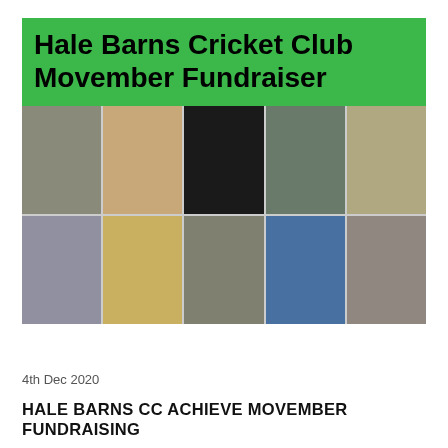[Figure (photo): Collage image with a green banner headline reading 'Hale Barns Cricket Club Movember Fundraiser' above a 5x2 grid of photos of men with moustaches participating in Movember fundraiser.]
4th Dec 2020
HALE BARNS CC ACHIEVE MOVEMBER FUNDRAISING